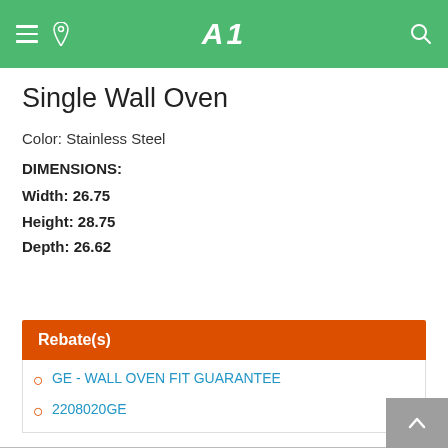AL
Single Wall Oven
Color: Stainless Steel
DIMENSIONS:
Width: 26.75
Height: 28.75
Depth: 26.62
Rebate(s)
GE - WALL OVEN FIT GUARANTEE
2208020GE